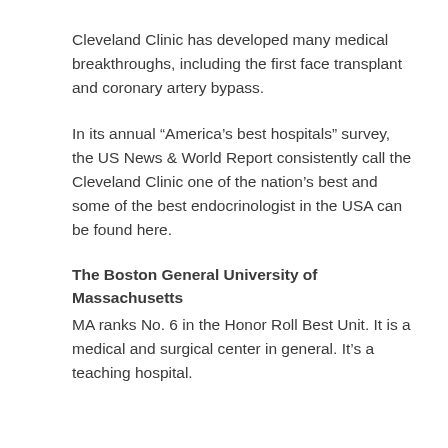Cleveland Clinic has developed many medical breakthroughs, including the first face transplant and coronary artery bypass.
In its annual “America’s best hospitals” survey, the US News & World Report consistently call the Cleveland Clinic one of the nation’s best and some of the best endocrinologist in the USA can be found here.
The Boston General University of Massachusetts
MA ranks No. 6 in the Honor Roll Best Unit. It is a medical and surgical center in general. It’s a teaching hospital.